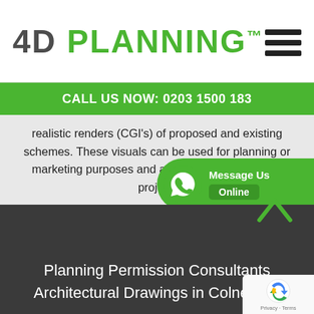4D PLANNING™
CALL US NOW: 0203 1500 183
realistic renders (CGI's) of proposed and existing schemes. These visuals can be used for planning or marketing purposes and add a lot of value to any project.
[Figure (logo): WhatsApp Message Us Online button]
Planning Permission Consultants Architectural Drawings in Colney Ha